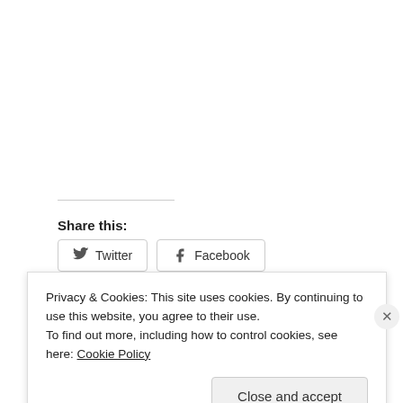Share this:
Twitter
Facebook
Like
Be the first to like this.
Related
Privacy & Cookies: This site uses cookies. By continuing to use this website, you agree to their use.
To find out more, including how to control cookies, see here: Cookie Policy
Close and accept